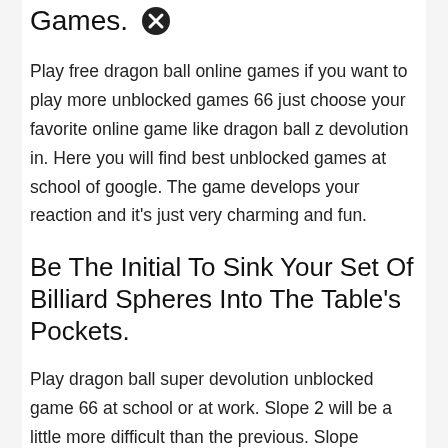Games.
Play free dragon ball online games if you want to play more unblocked games 66 just choose your favorite online game like dragon ball z devolution in. Here you will find best unblocked games at school of google. The game develops your reaction and it's just very charming and fun.
Be The Initial To Sink Your Set Of Billiard Spheres Into The Table's Pockets.
Play dragon ball super devolution unblocked game 66 at school or at work. Slope 2 will be a little more difficult than the previous. Slope unblocked games 66 is a popular arcade game for school and